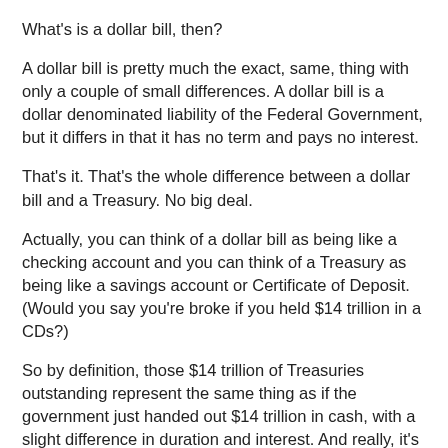What's is a dollar bill, then?
A dollar bill is pretty much the exact, same, thing with only a couple of small differences. A dollar bill is a dollar denominated liability of the Federal Government, but it differs in that it has no term and pays no interest.
That's it. That's the whole difference between a dollar bill and a Treasury. No big deal.
Actually, you can think of a dollar bill as being like a checking account and you can think of a Treasury as being like a savings account or Certificate of Deposit. (Would you say you're broke if you held $14 trillion in a CDs?)
So by definition, those $14 trillion of Treasuries outstanding represent the same thing as if the government just handed out $14 trillion in cash, with a slight difference in duration and interest. And really, it's only about interest because you can roll over a Treasury as many times as you want making duration a moot point.